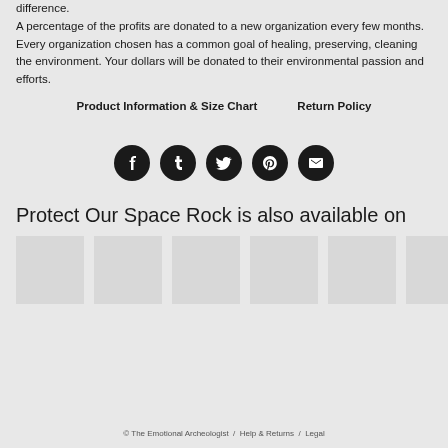difference.
A percentage of the profits are donated to a new organization every few months. Every organization chosen has a common goal of healing, preserving, cleaning the environment. Your dollars will be donated to their environmental passion and efforts.
Product Information & Size Chart      Return Policy
[Figure (infographic): Five social media icon circles (Facebook, Tumblr, Twitter, Pinterest, Email) in black]
Protect Our Space Rock is also available on
[Figure (other): Six light grey thumbnail placeholder squares in a row]
© The Emotional Archeologist  /  Help & Returns  /  Legal